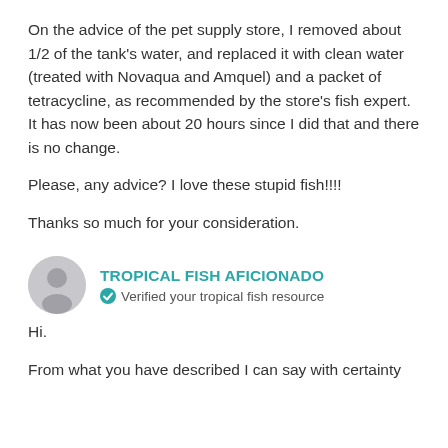On the advice of the pet supply store, I removed about 1/2 of the tank's water, and replaced it with clean water (treated with Novaqua and Amquel) and a packet of tetracycline, as recommended by the store's fish expert. It has now been about 20 hours since I did that and there is no change.
Please, any advice? I love these stupid fish!!!!
Thanks so much for your consideration.
[Figure (illustration): Circular avatar icon showing a generic grey silhouette of a person]
TROPICAL FISH AFICIONADO
✓ Verified your tropical fish resource
Hi.
From what you have described I can say with certainty